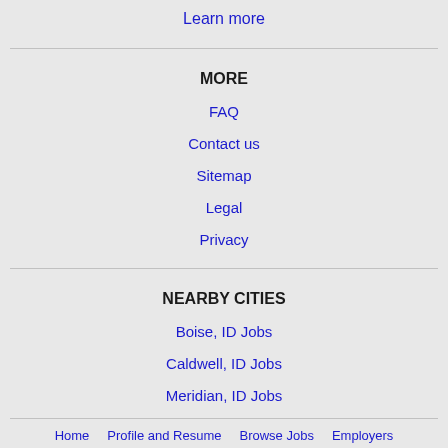Learn more
MORE
FAQ
Contact us
Sitemap
Legal
Privacy
NEARBY CITIES
Boise, ID Jobs
Caldwell, ID Jobs
Meridian, ID Jobs
Home   Profile and Resume   Browse Jobs   Employers